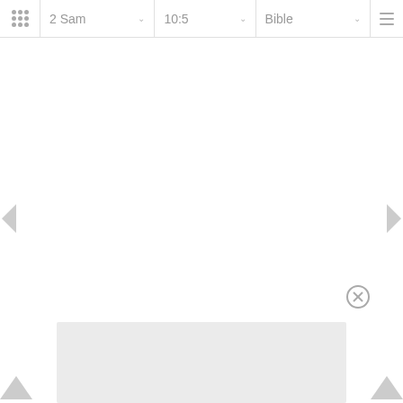2 Sam | 10:5 | Bible
[Figure (screenshot): Bible app navigation bar showing book selector '2 Sam', chapter selector '10:5', and 'Bible' view selector with dropdown arrows, plus a grid icon and hamburger menu icon. Below the navbar is a blank white content area with left and right navigation arrows on the sides. A close button (circle with X) appears near the bottom right, and a light gray advertisement panel appears at the bottom center. Small triangle navigation arrows appear at the bottom corners.]